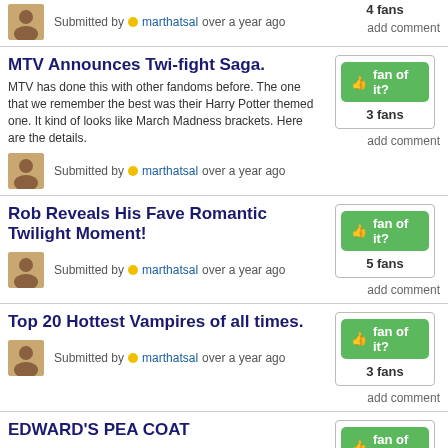4 fans
add comment
Submitted by marthatsal over a year ago
MTV Announces Twi-fight Saga.
MTV has done this with other fandoms before. The one that we remember the best was their Harry Potter themed one. It kind of looks like March Madness brackets. Here are the details.
3 fans
add comment
Submitted by marthatsal over a year ago
Rob Reveals His Fave Romantic Twilight Moment!
5 fans
add comment
Submitted by marthatsal over a year ago
Top 20 Hottest Vampires of all times.
3 fans
add comment
Submitted by marthatsal over a year ago
EDWARD'S PEA COAT
2 fans
add comment
Submitted by marthatsal over a year ago